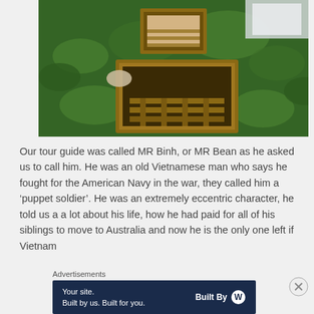[Figure (photo): Aerial view of Vietnam Cu Chi tunnels model/display showing underground tunnel entrances surrounded by green dense vegetation/ground cover. Two rectangular pit openings with wooden frames and ladder visible inside are seen from above.]
Our tour guide was called MR Binh, or MR Bean as he asked us to call him. He was an old Vietnamese man who says he fought for the American Navy in the war, they called him a ‘puppet soldier’. He was an extremely eccentric character, he told us a a lot about his life, how he had paid for all of his siblings to move to Australia and now he is the only one left if Vietnam
Advertisements
[Figure (screenshot): Dark navy blue advertisement banner reading 'Your site. Built by us. Built for you.' with 'Built By' and WordPress logo on the right side.]